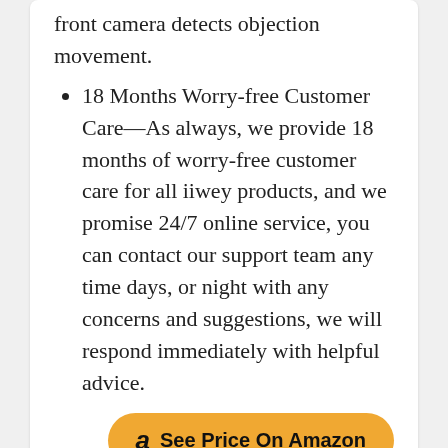front camera detects objection movement.
18 Months Worry-free Customer Care—As always, we provide 18 months of worry-free customer care for all iiwey products, and we promise 24/7 online service, you can contact our support team any time days, or night with any concerns and suggestions, we will respond immediately with helpful advice.
7. DUAL DASH CAM BUILT-IN WIFI GPS FRONT 4K/2.5K AND REAR 1080P DUAL DASH CAMERA FOR CARS